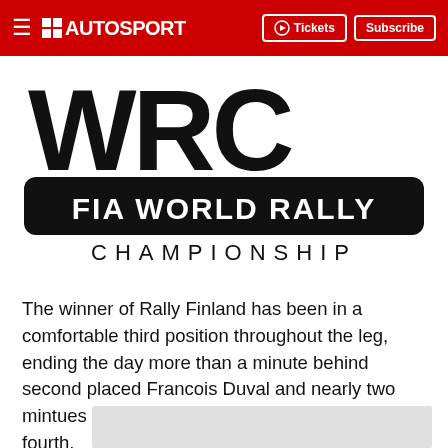AUTOSPORT | Tickets | Subscribe
[Figure (logo): WRC FIA World Rally Championship logo — large block letters 'WRC' above a black rounded rectangle containing 'FIA WORLD RALLY' in white, with 'CHAMPIONSHIP' in spaced capitals below]
The winner of Rally Finland has been in a comfortable third position throughout the leg, ending the day more than a minute behind second placed Francois Duval and nearly two mintues ahead of his teammate Markko Martin in fourth.
[Figure (photo): Partially visible light grey image placeholder at bottom of page]